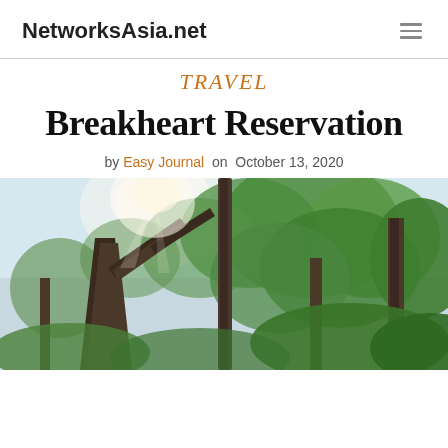NetworksAsia.net
TRAVEL
Breakheart Reservation
by Easy Journal on October 13, 2020
[Figure (photo): Looking up through tall trees at a forest canopy with sunlight filtering through, mix of bare trunk trees and lush green leafy trees against a bright sky]